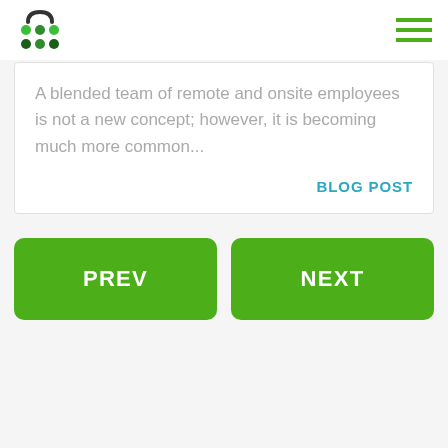Logo and hamburger menu
A blended team of remote and onsite employees is not a new concept; however, it is becoming much more common...
BLOG POST
PREV
NEXT